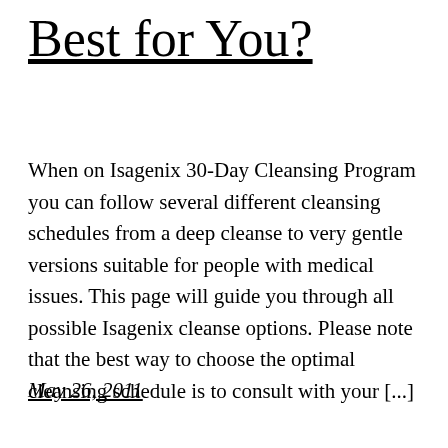Best for You?
When on Isagenix 30-Day Cleansing Program you can follow several different cleansing schedules from a deep cleanse to very gentle versions suitable for people with medical issues. This page will guide you through all possible Isagenix cleanse options. Please note that the best way to choose the optimal cleansing schedule is to consult with your [...]
May 26, 2011